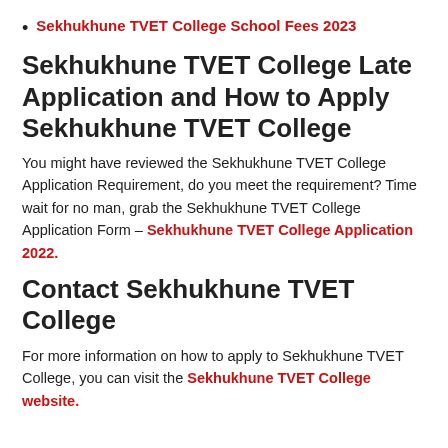Sekhukhune TVET College School Fees 2023
Sekhukhune TVET College Late Application and How to Apply Sekhukhune TVET College
You might have reviewed the Sekhukhune TVET College Application Requirement, do you meet the requirement? Time wait for no man, grab the Sekhukhune TVET College Application Form – Sekhukhune TVET College Application 2022.
Contact Sekhukhune TVET College
For more information on how to apply to Sekhukhune TVET College, you can visit the Sekhukhune TVET College website.